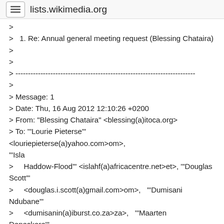lists.wikimedia.org
>
>   1. Re: Annual general meeting request (Blessing Chataira)
>
>
> ------------------------------------------------------------------------
>
> Message: 1
> Date: Thu, 16 Aug 2012 12:10:26 +0200
> From: "Blessing Chataira" &lt;blessing(a)itoca.org&gt;
> To: '"Lourie Pieterse"'
&lt;louriepieterse(a)yahoo.com&gt;om>,
'"Isla
>     Haddow-Flood'" &lt;islahf(a)africacentre.net&gt;et>, '"Douglas
Scott'"
>     &lt;douglas.i.scott(a)gmail.com&gt;om>,   '"Dumisani
Ndubane'"
>     &lt;dumisanin(a)iburst.co.za&gt;za>,   '"Maarten
Deneckere'"